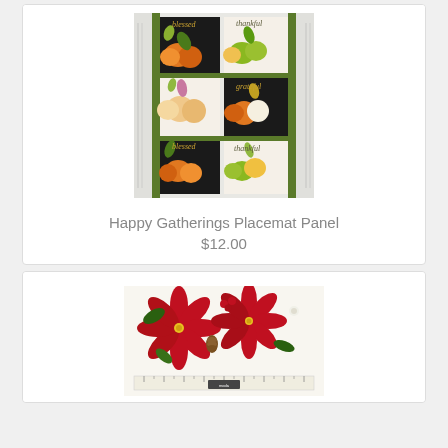[Figure (photo): Happy Gatherings Placemat Panel fabric showing autumn/fall themed panels with pumpkins, leaves, and text including 'blessed', 'thankful', 'grateful' on black and white backgrounds with green borders]
Happy Gatherings Placemat Panel
$12.00
[Figure (photo): Tree Farm fabric charm pack or layer cake showing red poinsettias with pine cones on white background, partially visible with 'Tree Farm' text at bottom]